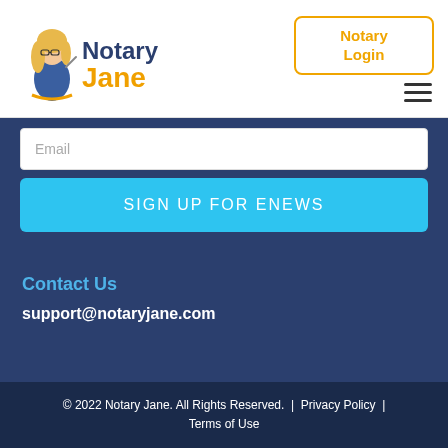[Figure (logo): Notary Jane logo with cartoon blonde woman character and orange/navy blue text]
Notary Login
Email
SIGN UP FOR ENEWS
Contact Us
support@notaryjane.com
© 2022 Notary Jane. All Rights Reserved.  |  Privacy Policy  |  Terms of Use